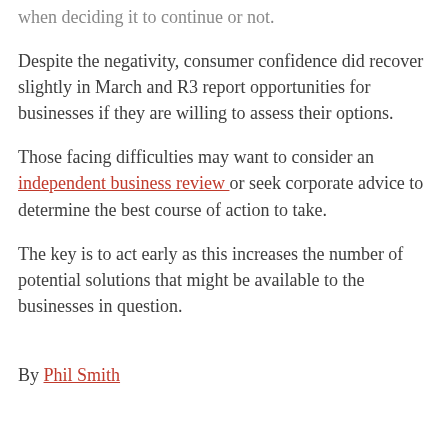when deciding it to continue or not.
Despite the negativity, consumer confidence did recover slightly in March and R3 report opportunities for businesses if they are willing to assess their options.
Those facing difficulties may want to consider an independent business review or seek corporate advice to determine the best course of action to take.
The key is to act early as this increases the number of potential solutions that might be available to the businesses in question.
By Phil Smith
If you would like to have a free no